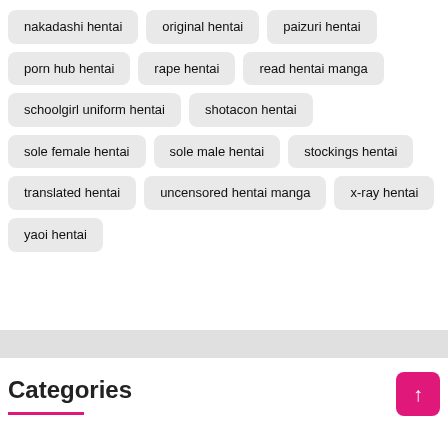nakadashi hentai
original hentai
paizuri hentai
porn hub hentai
rape hentai
read hentai manga
schoolgirl uniform hentai
shotacon hentai
sole female hentai
sole male hentai
stockings hentai
translated hentai
uncensored hentai manga
x-ray hentai
yaoi hentai
Categories